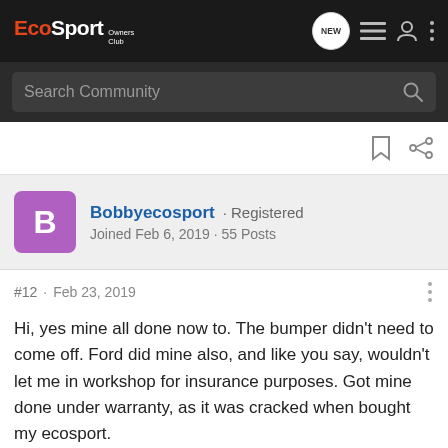EcoSport Owners Club
Search Community
Bobbyecosport · Registered
Joined Feb 6, 2019 · 55 Posts
#12 · Feb 23, 2019
Hi, yes mine all done now to. The bumper didn't need to come off. Ford did mine also, and like you say, wouldn't let me in workshop for insurance purposes. Got mine done under warranty, as it was cracked when bought my ecosport.